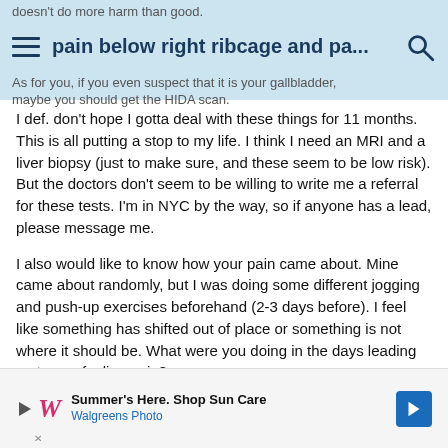doesn't do more harm than good.
pain below right ribcage and pa...
As for you, if you even suspect that it is your gallbladder, maybe you should get the HIDA scan.
I def. don't hope I gotta deal with these things for 11 months. This is all putting a stop to my life. I think I need an MRI and a liver biopsy (just to make sure, and these seem to be low risk). But the doctors don't seem to be willing to write me a referral for these tests. I'm in NYC by the way, so if anyone has a lead, please message me.
I also would like to know how your pain came about. Mine came about randomly, but I was doing some different jogging and push-up exercises beforehand (2-3 days before). I feel like something has shifted out of place or something is not where it should be. What were you doing in the days leading up to you feeling pain?
[Figure (infographic): Walgreens advertisement banner: 'Summer's Here. Shop Sun Care' with Walgreens Photo branding and a blue arrow icon]